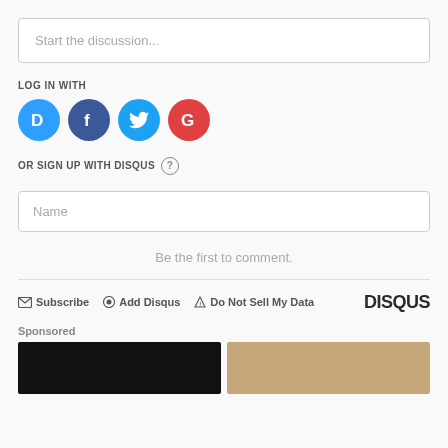Start the discussion...
LOG IN WITH
[Figure (infographic): Four social login icons: Disqus (blue D), Facebook (dark blue F), Twitter (light blue bird), Google (red G)]
OR SIGN UP WITH DISQUS (?)
Name
Be the first to comment.
Subscribe   Add Disqus   Do Not Sell My Data   DISQUS
Sponsored
[Figure (photo): Two sponsored content thumbnail images side by side]